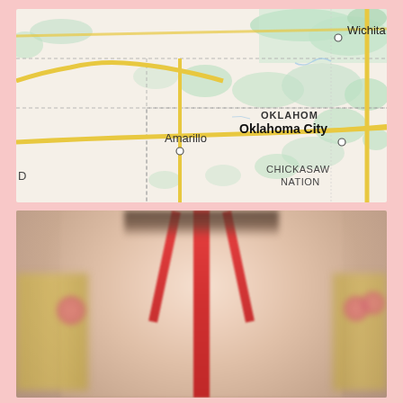[Figure (map): Road map showing parts of Kansas, Texas, Oklahoma and surrounding region. Cities labeled include Wichita (top right), Oklahoma City (right center, bold), and Amarillo (center-left). Region labels include OKLAHOM (truncated, top right), CHICKASAW NATION (bottom right). Roads shown as yellow lines, terrain/vegetation as light green patches on beige background. State/region borders shown as dashed gray lines.]
[Figure (photo): Blurred/obscured photo of a person wearing a red swimsuit or bikini top, showing upper torso area. Background includes yellow floral elements on sides. Image is intentionally blurred.]